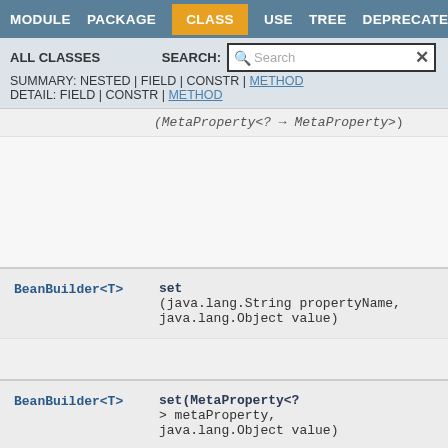MODULE  PACKAGE  CLASS  USE  TREE  DEPRECATED  INDEX
ALL CLASSES   SEARCH: [Search]
SUMMARY: NESTED | FIELD | CONSTR | METHOD
DETAIL: FIELD | CONSTR | METHOD
| Return Type | Method |
| --- | --- |
| (MetaProperty<? → MetaProperty) |  |
| BeanBuilder<T> | set(java.lang.String propertyName, java.lang.Object value) |
| BeanBuilder<T> | set(MetaProperty<? > metaProperty, java.lang.Object value) |